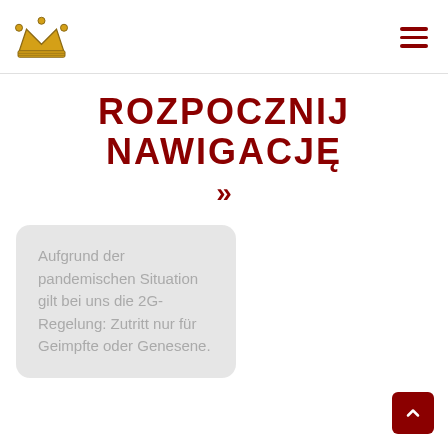[Figure (logo): Gold crown logo in top left corner]
[Figure (illustration): Hamburger menu icon (three horizontal dark red lines) in top right corner]
ROZPOCZNIJ NAWIGACJĘ »
Aufgrund der pandemischen Situation gilt bei uns die 2G-Regelung: Zutritt nur für Geimpfte oder Genesene.
[Figure (illustration): Dark red scroll-to-top button with upward chevron arrow in bottom right corner]